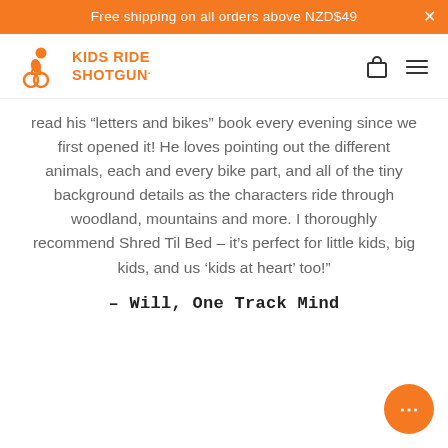Free shipping on all orders above NZD$49
[Figure (logo): Kids Ride Shotgun logo with orange person-on-bike icon and orange text reading KIDS RIDE SHOTGUN]
read his “letters and bikes” book every evening since we first opened it! He loves pointing out the different animals, each and every bike part, and all of the tiny background details as the characters ride through woodland, mountains and more. I thoroughly recommend Shred Til Bed – it’s perfect for little kids, big kids, and us ‘kids at heart’ too!”
– Will, One Track Mind